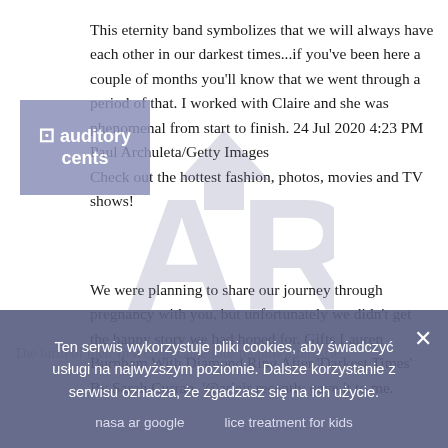This eternity band symbolizes that we will always have each other in our darkest times...if you've been here a couple of months you'll know that we went through a period of that. I worked with Claire and she was phenomenal from start to finish. 24 Jul 2020 4:23 PM Paul Archuleta/Getty Images
Check out the hottest fashion, photos, movies and TV shows!
[Figure (logo): Watermark logo 'AR' with arrow/house symbol, semi-transparent gray overlay]
[Figure (logo): Accessibility badge with wheelchair icon and text 'auditory cents']
We were planning to share our journey through pregnancy with you, but unfortunately we didn't get the happy story we had hoped for. Gifts Lauren Burnham With Diamond Ring After 'Darkest Times' By Sarah Curran. '@ariejr recently gave it to me.
The birth of their first child came four months after Arie...
to give them 6 stars in Costa...
nasa ar google    lice treatment for kids
Lauren Burnham's smile is a custom cut with geometric...
Ten serwis wykorzystuje pliki cookies, aby świadczyć usługi na najwyższym poziomie. Dalsze korzystanie z serwisu oznacza, że zgadzasz się na ich użycie.